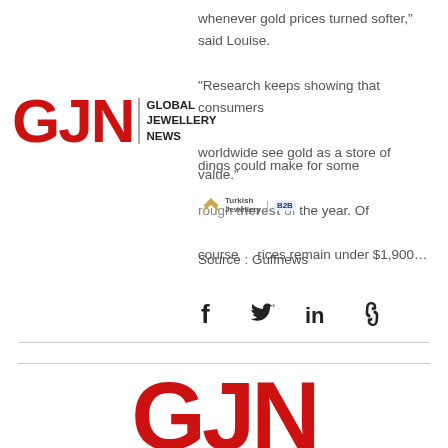whenever gold prices turned softer," said Louise.
"Research keeps showing that consumers worldwide see gold as a store of value."
[Figure (logo): GJN Global Jewellery News logo - small version overlaid on text]
...dings could make for some ...rough the rest of the year. Of course... ...rices remain under $1,900...
[Figure (logo): Turkish Jewellery B2B logo badge]
Source : Gulfnews
[Figure (other): Social media share icons: Facebook, Twitter, LinkedIn, Link]
[Figure (logo): GJN Global Jewellery News large red logo at bottom]